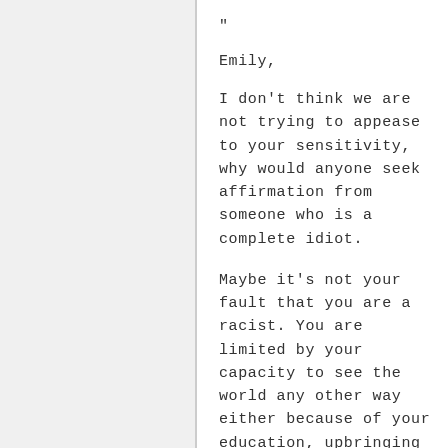"
Emily,
I don't think we are not trying to appease to your sensitivity, why would anyone seek affirmation from someone who is a complete idiot.
Maybe it's not your fault that you are a racist. You are limited by your capacity to see the world any other way either because of your education, upbringing or society.